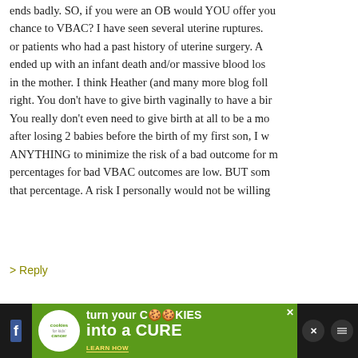ends badly. SO, if you were an OB would YOU offer your chance to VBAC? I have seen several uterine ruptures. or patients who had a past history of uterine surgery. A ended up with an infant death and/or massive blood loss in the mother. I think Heather (and many more blog foll right. You don't have to give birth vaginally to have a bir You really don't even need to give birth at all to be a mo after losing 2 babies before the birth of my first son, I w ANYTHING to minimize the risk of a bad outcome for m percentages for bad VBAC outcomes are low. BUT som that percentage. A risk I personally would not be willing
> Reply
166. Lindsey says:
JULY 12TH, 2011 AT 9:14 PM
My birthing story; First was a C=section because the ba Second was a C-=section because my doctor who was t group said he had a case of uterine rupture and the bab
[Figure (infographic): Advertisement banner for cookies for kids cancer - turn your cookies into a cure. Green background with white circle logo, bold white text, and social media icons on dark bar.]